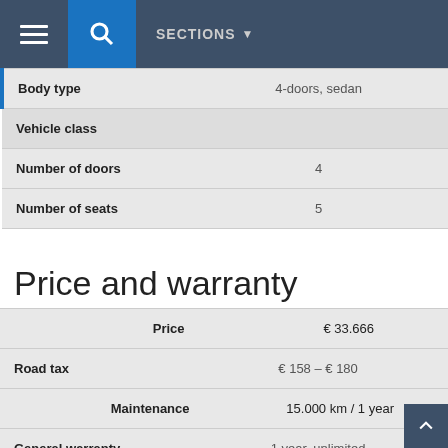SECTIONS
|  |  |
| --- | --- |
| Body type | 4-doors, sedan |
| Vehicle class |  |
| Number of doors | 4 |
| Number of seats | 5 |
Price and warranty
|  |  |
| --- | --- |
| Price | € 33.666 |
| Road tax | € 158 – € 180 |
| Maintenance | 15.000 km / 1 year |
| General warranty | 1 year, unlimited |
| Chassis warranty | 0 years |